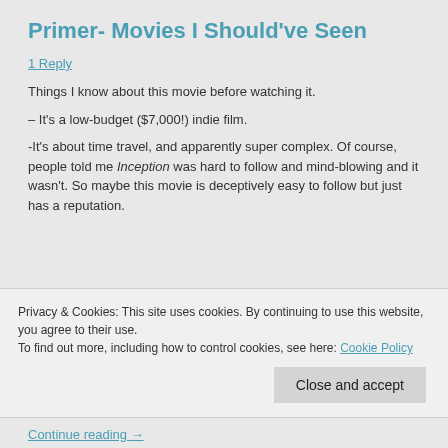Primer- Movies I Should've Seen
1 Reply
Things I know about this movie before watching it.
– It's a low-budget ($7,000!) indie film.
-It's about time travel, and apparently super complex. Of course, people told me Inception was hard to follow and mind-blowing and it wasn't. So maybe this movie is deceptively easy to follow but just has a reputation.
Privacy & Cookies: This site uses cookies. By continuing to use this website, you agree to their use.
To find out more, including how to control cookies, see here: Cookie Policy
Close and accept
Continue reading →